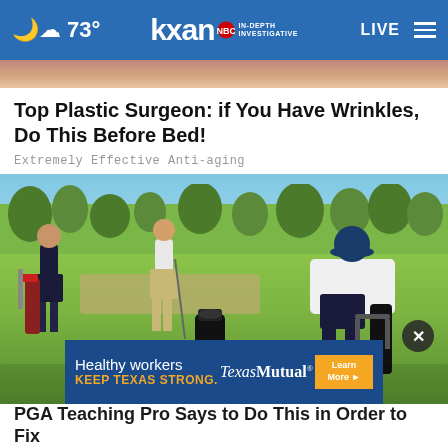73° | kxan IN-DEPTH INVESTIGATIVE | LIVE
[Figure (photo): Partial top of a photo showing skin/face, cropped at top]
Top Plastic Surgeon: if You Have Wrinkles, Do This Before Bed!
Extremely Effective Anti-aging
[Figure (photo): Outdoor golf lesson scene with several men on a golf driving range in bright sunlight. One man in white shirt and blue cap is bending over, others stand watching. Golf bags and equipment visible on green grass. Trees in background under blue sky. An advertisement banner overlay reads 'Healthy workers KEEP TEXAS STRONG. TexasMutual Learn More' with a close button.]
PGA Teaching Pro Says to Do This in Order to Fix